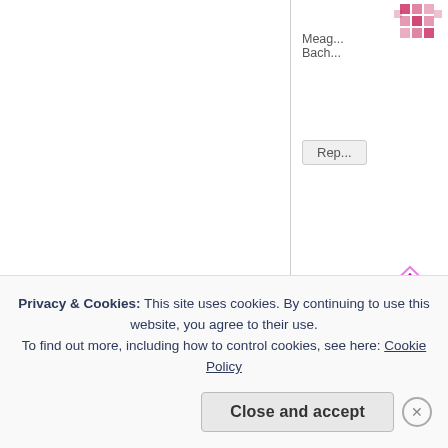[Figure (illustration): Pink/red mosaic avatar icon, partially visible at top right corner]
Meag... Bach...
Rep...
[Figure (illustration): Magenta/pink diamond pattern avatar icon, large, partially visible at mid right]
[Figure (illustration): Red/pink mosaic avatar icon for Kristin, smaller size]
Kristin says:
Casey, the Fa... currently–if yo...
Reply
Privacy & Cookies: This site uses cookies. By continuing to use this website, you agree to their use.
To find out more, including how to control cookies, see here: Cookie Policy
Close and accept